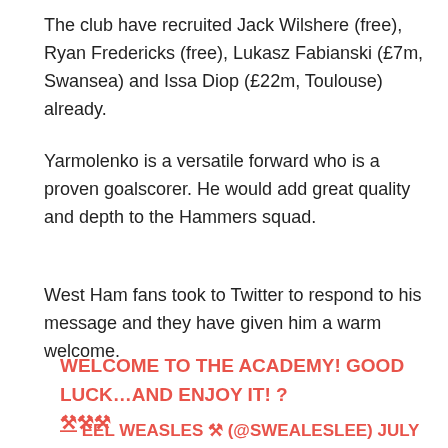The club have recruited Jack Wilshere (free), Ryan Fredericks (free), Lukasz Fabianski (£7m, Swansea) and Issa Diop (£22m, Toulouse) already.
Yarmolenko is a versatile forward who is a proven goalscorer. He would add great quality and depth to the Hammers squad.
West Ham fans took to Twitter to respond to his message and they have given him a warm welcome.
WELCOME TO THE ACADEMY! GOOD LUCK…AND ENJOY IT! ? ⚒⚒⚒
— EEL WEASLES ⚒ (@SWEALESLEE) JULY 11, 2018